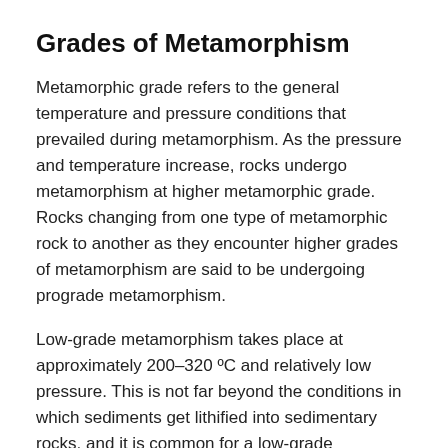Grades of Metamorphism
Metamorphic grade refers to the general temperature and pressure conditions that prevailed during metamorphism. As the pressure and temperature increase, rocks undergo metamorphism at higher metamorphic grade. Rocks changing from one type of metamorphic rock to another as they encounter higher grades of metamorphism are said to be undergoing prograde metamorphism.
Low-grade metamorphism takes place at approximately 200–320 ºC and relatively low pressure. This is not far beyond the conditions in which sediments get lithified into sedimentary rocks, and it is common for a low-grade metamorphic rock to look somewhat like its protolith. Low grade metamorphic rocks tend to characterized by an abundance of hydrous minerals, minerals that contain water within their crystal structure. For a...